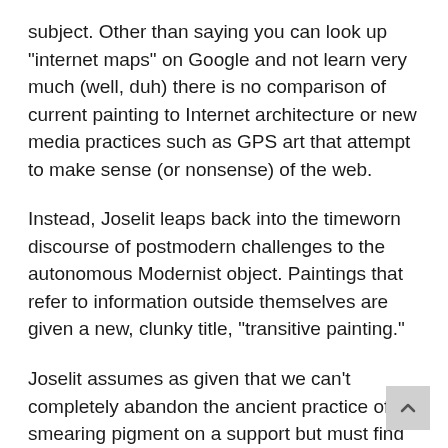subject. Other than saying you can look up "internet maps" on Google and not learn very much (well, duh) there is no comparison of current painting to Internet architecture or new media practices such as GPS art that attempt to make sense (or nonsense) of the web.
Instead, Joselit leaps back into the timeworn discourse of postmodern challenges to the autonomous Modernist object. Paintings that refer to information outside themselves are given a new, clunky title, "transitive painting."
Joselit assumes as given that we can't completely abandon the ancient practice of smearing pigment on a support but must find ways to make it intellectually and morally justifiable. He acknowledges painting's role in the market